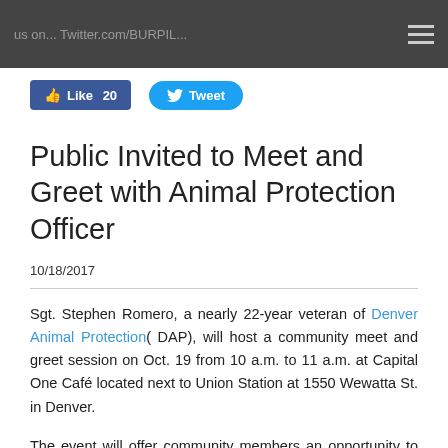us on... Twitter.com/BURPIL...
[Figure (other): Facebook Like button showing count of 20 and Twitter Tweet button]
Public Invited to Meet and Greet with Animal Protection Officer
10/18/2017
Sgt. Stephen Romero, a nearly 22-year veteran of Denver Animal Protection( DAP), will host a community meet and greet session on Oct. 19 from 10 a.m. to 11 a.m. at Capital One Café located next to Union Station at 1550 Wewatta St. in Denver.
The event will offer community members an opportunity to ask questions and learn more about